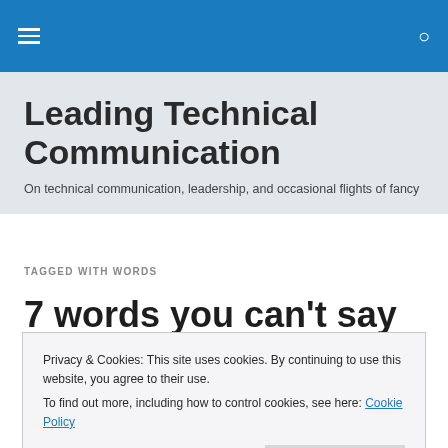Leading Technical Communication
Leading Technical Communication
On technical communication, leadership, and occasional flights of fancy
TAGGED WITH WORDS
7 words you can't say at CDC
Privacy & Cookies: This site uses cookies. By continuing to use this website, you agree to their use.
To find out more, including how to control cookies, see here: Cookie Policy